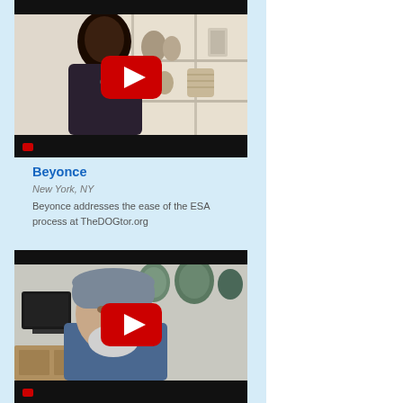[Figure (screenshot): Video thumbnail of a woman with dark hair sitting in front of a shelf with items, with a YouTube play button overlay and black bars top and bottom.]
Beyonce
New York, NY
Beyonce addresses the ease of the ESA process at TheDOGtor.org
[Figure (screenshot): Video thumbnail of an older man wearing a blue knit hat and blue shirt, sitting in a room with a TV and furniture, with a YouTube play button overlay and black bars top and bottom.]